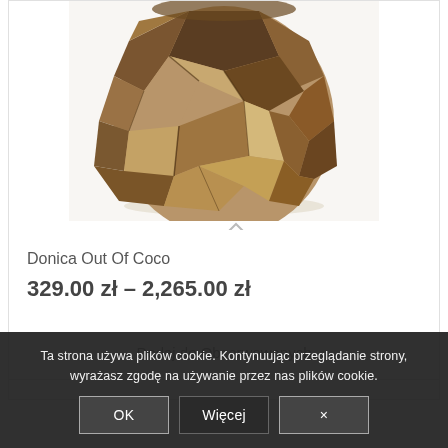[Figure (photo): Donica Out Of Coco — a decorative pot made from coconut shell pieces, rounded shape, natural brown tones, on white background]
Donica Out Of Coco
329.00 zł – 2,265.00 zł
Dodaj do Obserwowanych
Ta strona używa plików cookie. Kontynuując przeglądanie strony, wyrażasz zgodę na używanie przez nas plików cookie.
OK | Więcej | ×